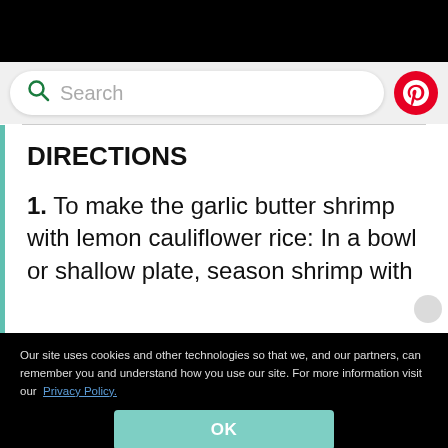[Figure (screenshot): Search bar with green magnifying glass icon and text 'Search', plus Pinterest red circular button on right]
DIRECTIONS
1. To make the garlic butter shrimp with lemon cauliflower rice: In a bowl or shallow plate, season shrimp with
Our site uses cookies and other technologies so that we, and our partners, can remember you and understand how you use our site. For more information visit our Privacy Policy.
OK